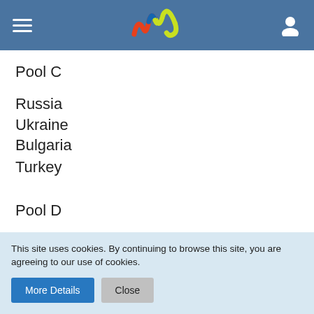Navigation header with hamburger menu, logo (colorful W/wave), and user icon
Pool C
Russia
Ukraine
Bulgaria
Turkey
Pool D
The Nethelrands
Belgium
Serbia
Czech Republic (partially visible)
This site uses cookies. By continuing to browse this site, you are agreeing to our use of cookies.
More Details | Close